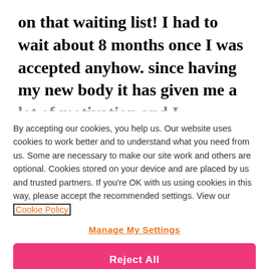on that waiting list! I had to wait about 8 months once I was accepted anyhow. since having my new body it has given me a lot of motivation and I
By accepting our cookies, you help us. Our website uses cookies to work better and to understand what you need from us. Some are necessary to make our site work and others are optional. Cookies stored on your device and are placed by us and trusted partners. If you're OK with us using cookies in this way, please accept the recommended settings. View our Cookie Policy
Manage My Settings
Reject All
Accept All Cookies